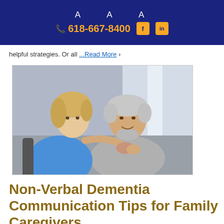A A A  618-667-8400  f  in
helpful strategies. Or all ...Read More ›
[Figure (photo): A young blonde woman in a blue top leans in close to an elderly man with gray hair and a beard, placing her hand on his arm in a caring gesture. They appear to be looking at each other. The setting is indoors with a bright window in the background.]
Non-Verbal Dementia Communication Tips for Family Caregivers